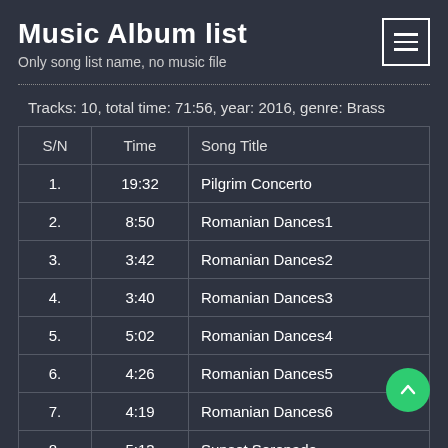Music Album list
Only song list name, no music file
Tracks: 10, total time: 71:56, year: 2016, genre: Brass
| S/N | Time | Song Title |
| --- | --- | --- |
| 1. | 19:32 | Pilgrim Concerto |
| 2. | 8:50 | Romanian Dances1 |
| 3. | 3:42 | Romanian Dances2 |
| 4. | 3:40 | Romanian Dances3 |
| 5. | 5:02 | Romanian Dances4 |
| 6. | 4:26 | Romanian Dances5 |
| 7. | 4:19 | Romanian Dances6 |
| 8. | 5:13 | Sunset Serenade |